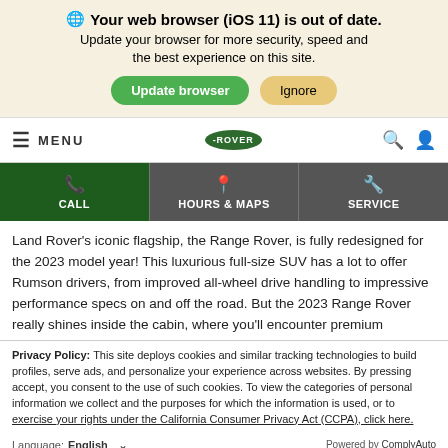Your web browser (iOS 11) is out of date. Update your browser for more security, speed and the best experience on this site.
[Figure (screenshot): Navigation bar with hamburger menu, MENU text, Land Rover logo oval, search and user icons]
[Figure (infographic): Three action buttons: CALL (dark green), HOURS & MAPS (dark grey), SERVICE (dark grey) with icons]
Land Rover’s iconic flagship, the Range Rover, is fully redesigned for the 2023 model year! This luxurious full-size SUV has a lot to offer Rumson drivers, from improved all-wheel drive handling to impressive performance specs on and off the road. But the 2023 Range Rover really shines inside the cabin, where you’ll encounter premium
Privacy Policy: This site deploys cookies and similar tracking technologies to build profiles, serve ads, and personalize your experience across websites. By pressing accept, you consent to the use of such cookies. To view the categories of personal information we collect and the purposes for which the information is used, or to exercise your rights under the California Consumer Privacy Act (CCPA), click here.
Language: English ⌄   Powered by ComplyAuto
Accept and Continue →   California Privacy Disclosures   ×